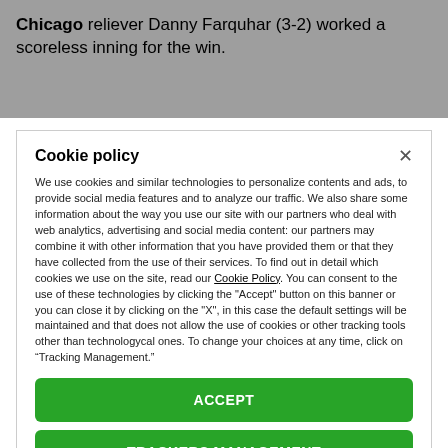Chicago reliever Danny Farquhar (3-2) worked a scoreless inning for the win.
Cookie policy
We use cookies and similar technologies to personalize contents and ads, to provide social media features and to analyze our traffic. We also share some information about the way you use our site with our partners who deal with web analytics, advertising and social media content: our partners may combine it with other information that you have provided them or that they have collected from the use of their services. To find out in detail which cookies we use on the site, read our Cookie Policy. You can consent to the use of these technologies by clicking the "Accept" button on this banner or you can close it by clicking on the "X", in this case the default settings will be maintained and that does not allow the use of cookies or other tracking tools other than technologycal ones. To change your choices at any time, click on “Tracking Management.”
ACCEPT
TRACKERS MANAGEMENT
Show vendors | Show purposes